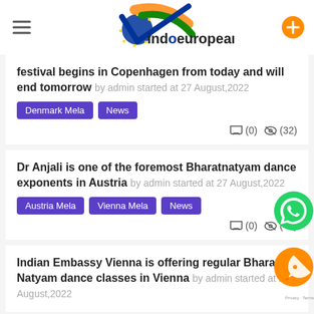indoeuropean.eu
festival begins in Copenhagen from today and will end tomorrow by admin started at 27 August,2022
Denmark Mela | News
(0) (32)
Dr Anjali is one of the foremost Bharatnatyam dance exponents in Austria by admin started at 27 August,2022
Austria Mela | Vienna Mela | News
(0) (43)
Indian Embassy Vienna is offering regular Bharat Natyam dance classes in Vienna by admin started at 27 August,2022